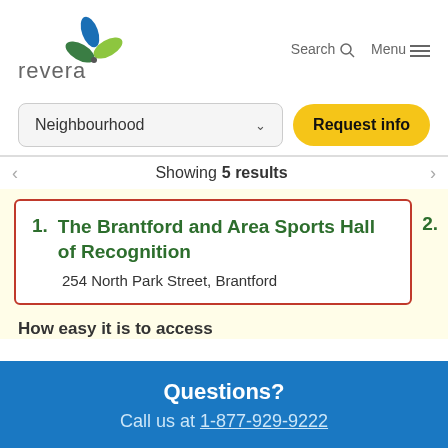[Figure (logo): Revera logo with stylized three-leaf plant icon in blue and green, and the word 'revera' in grey lowercase text]
Search   Menu
Neighbourhood
Request info
Showing 5 results
1. The Brantford and Area Sports Hall of Recognition
254 North Park Street, Brantford
2.
How easy it is to access
Questions?
Call us at 1-877-929-9222